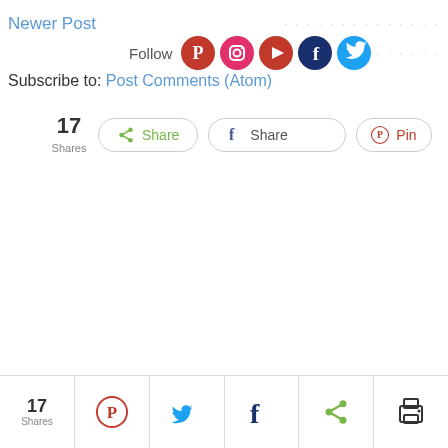Newer Post
[Figure (screenshot): Social media follow icons: Pinterest, Instagram, YouTube, Facebook, Twitter with Follow label]
Subscribe to: Post Comments (Atom)
[Figure (screenshot): Share buttons: 17 Shares, Share (green), Share (Facebook), Pin (Pinterest)]
[Figure (screenshot): Bottom share bar: 17 Shares, Pinterest, Twitter, Facebook, Share, Print icons]